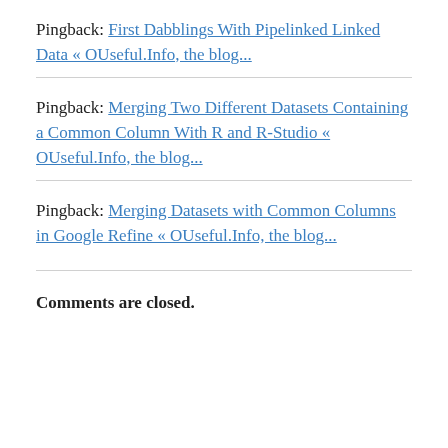Pingback: First Dabblings With Pipelinked Linked Data « OUseful.Info, the blog...
Pingback: Merging Two Different Datasets Containing a Common Column With R and R-Studio « OUseful.Info, the blog...
Pingback: Merging Datasets with Common Columns in Google Refine « OUseful.Info, the blog...
Comments are closed.